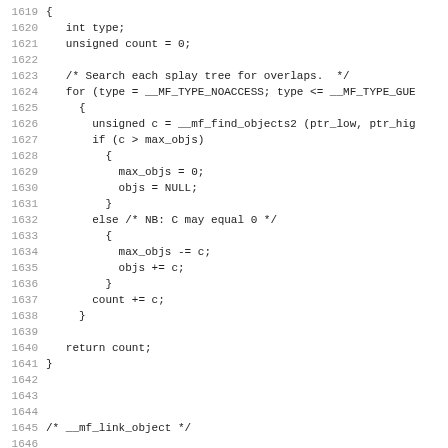Source code listing lines 1619–1650
1619 {
1620   int type;
1621   unsigned count = 0;
1622
1623   /* Search each splay tree for overlaps.  */
1624   for (type = __MF_TYPE_NOACCESS; type <= __MF_TYPE_GUE
1625     {
1626       unsigned c = __mf_find_objects2 (ptr_low, ptr_hig
1627       if (c > max_objs)
1628         {
1629           max_objs = 0;
1630           objs = NULL;
1631         }
1632       else /* NB: C may equal 0 */
1633         {
1634           max_objs -= c;
1635           objs += c;
1636         }
1637       count += c;
1638     }
1639
1640   return count;
1641 }
1642
1643
1644
1645 /* __mf_link_object */
1646
1647 static void
1648 __mf_link_object (__mf_object_t *node)
1649 {
1650   mfsplay_tree t = __mf_object_tree (node->type);